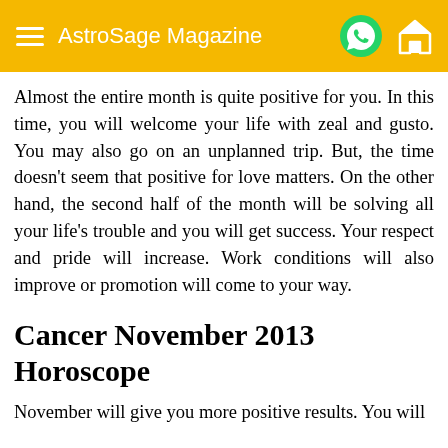AstroSage Magazine
Almost the entire month is quite positive for you. In this time, you will welcome your life with zeal and gusto. You may also go on an unplanned trip. But, the time doesn’t seem that positive for love matters. On the other hand, the second half of the month will be solving all your life’s trouble and you will get success. Your respect and pride will increase. Work conditions will also improve or promotion will come to your way.
Cancer November 2013 Horoscope
November will give you more positive results. You will